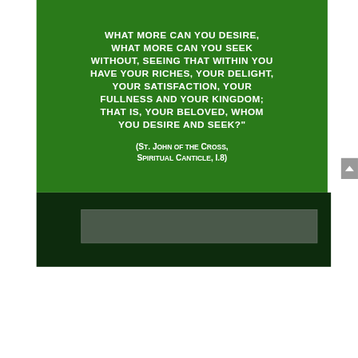What more can you desire, what more can you seek without, seeing that within you have your riches, your delight, your satisfaction, your fullness and your kingdom; that is, your Beloved, Whom you desire and seek?"
(St. John of the Cross, Spiritual Canticle, I.8)